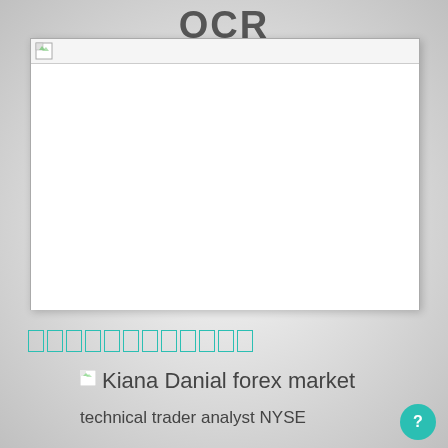OCR
[Figure (screenshot): A browser or application window placeholder showing a broken image icon in the top-left corner of the title bar, with a large white empty content area below.]
[Figure (other): A redacted/censored bar made of teal-outlined rectangular cells, approximately 12 cells wide.]
[Figure (photo): Broken image icon followed by text reading 'Kiana Danial forex market']
technical trader analyst NYSE